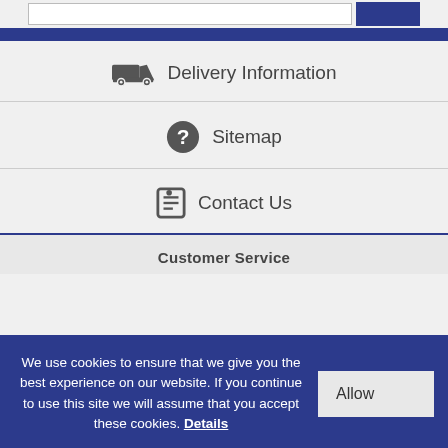[Figure (screenshot): Top area with search input box and dark blue button]
Delivery Information
Sitemap
Contact Us
Customer Service
We use cookies to ensure that we give you the best experience on our website. If you continue to use this site we will assume that you accept these cookies. Details